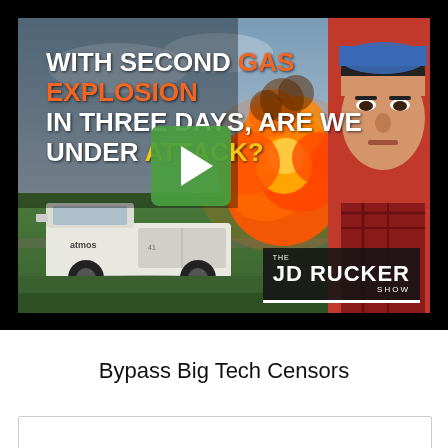[Figure (screenshot): Video thumbnail for JD Rucker Show. Background shows a field with a large orange gas explosion fireball and a white utility truck (Atmos Energy) in the foreground. Text overlay reads: 'WITH SECOND GAS EXPLOSION IN THREE DAYS, ARE WE UNDER ATTACK?' A green play button is centered. A man's face (JD Rucker) appears on the right side with 'THE JD RUCKER SHOW' badge at bottom right.]
Bypass Big Tech Censors